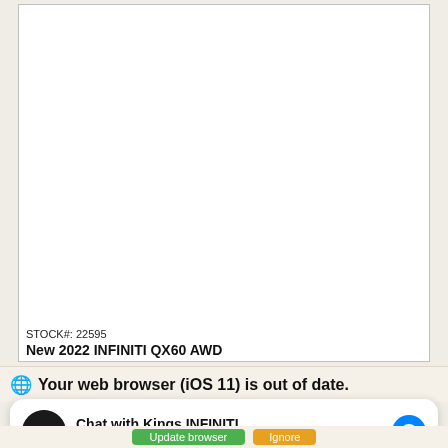[Figure (screenshot): White document/listing area with a thin border, mostly blank/white content area]
STOCK#: 22595
New 2022 INFINITI QX60 AWD
⊕ Your web browser (iOS 11) is out of date.
[Figure (screenshot): Chat widget showing 'Chat with Kings INFINITI' with avatar and Messenger icon. Subtext: Hi! How can we help you?]
Update browser   Ignore